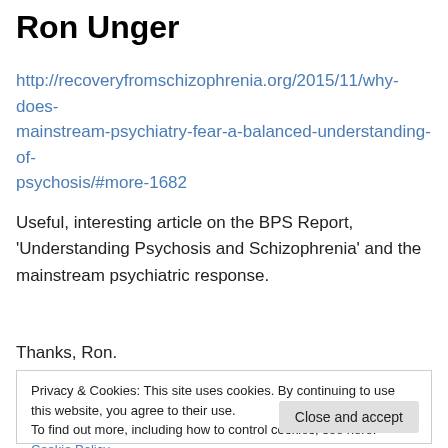Ron Unger
http://recoveryfromschizophrenia.org/2015/11/why-does-mainstream-psychiatry-fear-a-balanced-understanding-of-psychosis/#more-1682
Useful, interesting article on the BPS Report, 'Understanding Psychosis and Schizophrenia' and the mainstream psychiatric response.
Thanks, Ron.
Privacy & Cookies: This site uses cookies. By continuing to use this website, you agree to their use. To find out more, including how to control cookies, see here: Cookie Policy  Close and accept